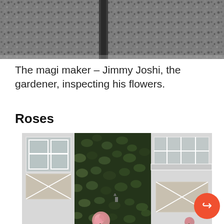[Figure (photo): Top portion of a photo showing a gravel or stone surface, possibly a roof or driveway, in grayscale tones.]
The magi maker – Jimmy Joshi, the gardener, inspecting his flowers.
Roses
[Figure (photo): A building exterior covered in dense dark ivy vines, with white-framed lattice windows visible on both sides, and pink roses in the foreground at the bottom.]
[Figure (other): Orange circular share/forward button icon in the bottom-right corner.]